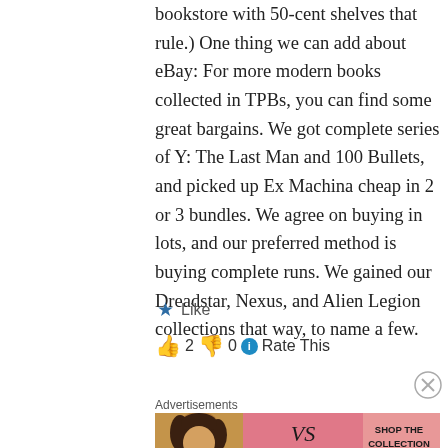bookstore with 50-cent shelves that rule.) One thing we can add about eBay: For more modern books collected in TPBs, you can find some great bargains. We got complete series of Y: The Last Man and 100 Bullets, and picked up Ex Machina cheap in 2 or 3 bundles. We agree on buying in lots, and our preferred method is buying complete runs. We gained our Dreadstar, Nexus, and Alien Legion collections that way, to name a few.
★ Like
👍 2 👎 0 ℹ Rate This
Advertisements
[Figure (other): Victoria's Secret advertisement banner with a model, VS logo, 'SHOP THE COLLECTION' text, and 'SHOP NOW' button]